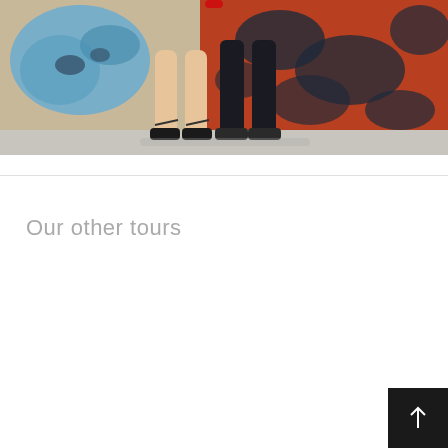[Figure (photo): Photo showing the lower legs and feet of two people standing in front of a colorful mural wall. The mural features blue and red/orange abstract or map-like patterns. One person wears a light-colored outfit, the other wears dark pants. Both wear sandals.]
Our other tours